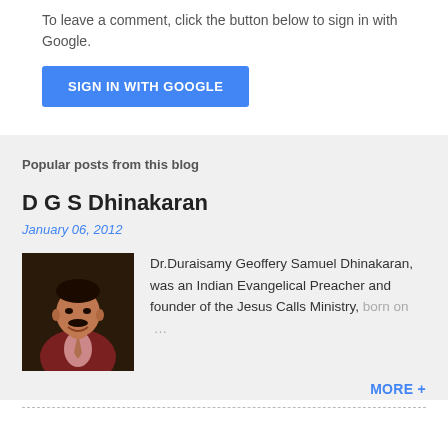To leave a comment, click the button below to sign in with Google.
[Figure (other): Blue 'SIGN IN WITH GOOGLE' button]
Popular posts from this blog
D G S Dhinakaran
January 06, 2012
[Figure (photo): Portrait photo of D G S Dhinakaran, an Indian man in a dark red jacket with a mustache, smiling.]
Dr.Duraisamy Geoffery Samuel Dhinakaran, was an Indian Evangelical Preacher and founder of the Jesus Calls Ministry, born on …
MORE +